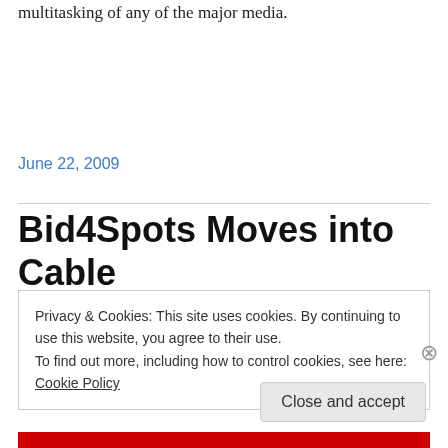multitasking of any of the major media.
June 22, 2009
Bid4Spots Moves into Cable
Privacy & Cookies: This site uses cookies. By continuing to use this website, you agree to their use.
To find out more, including how to control cookies, see here: Cookie Policy
Close and accept